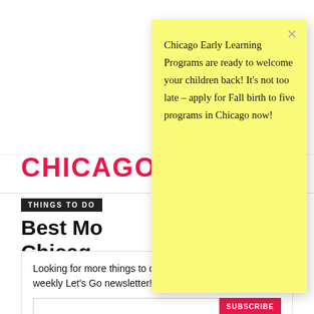[Figure (screenshot): Chicago magazine website screenshot showing CHICAGO logo in red, THINGS TO DO navigation bar, partial article title 'Best Mo... Chicag...', byline 'By Danielle Braff', social share buttons, and a newsletter subscription box at the bottom.]
Chicago Early Learning Programs are ready to welcome your children back! It's not too late – apply for Fall birth to five programs in Chicago now!